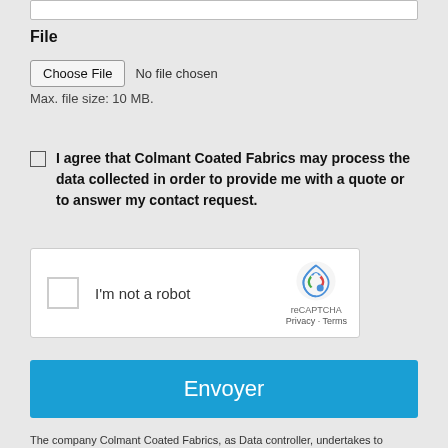File
Choose File  No file chosen
Max. file size: 10 MB.
I agree that Colmant Coated Fabrics may process the data collected in order to provide me with a quote or to answer my contact request.
[Figure (screenshot): reCAPTCHA widget with checkbox labeled 'I'm not a robot' and Google reCAPTCHA logo with Privacy and Terms links]
Envoyer
The company Colmant Coated Fabrics, as Data controller, undertakes to respect the law n ° 78-17 of January 6, 1978 modified relating to data processing, the files and the freedoms with regard to the automated processing of data personal information and Regulation (EU) No 2016/679 of 27 April 2016 from its application on 25 May 2018. The information collected on this form is recorded in a computerized file by Colmant Coated